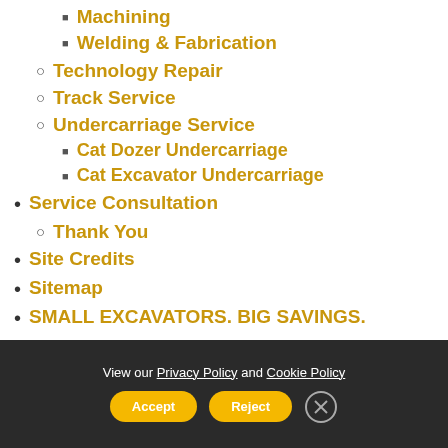Machining
Welding & Fabrication
Technology Repair
Track Service
Undercarriage Service
Cat Dozer Undercarriage
Cat Excavator Undercarriage
Service Consultation
Thank You
Site Credits
Sitemap
SMALL EXCAVATORS. BIG SAVINGS.
View our Privacy Policy and Cookie Policy  Accept  Reject